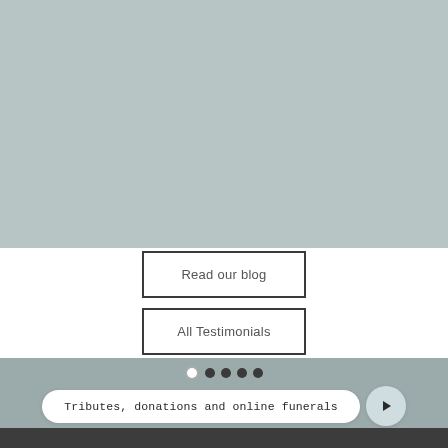[Figure (screenshot): Top gray-green background section (cropped image area)]
Read our blog
All Testimonials
Tributes, donations and online funerals
[Figure (screenshot): Dark footer bar at the bottom]